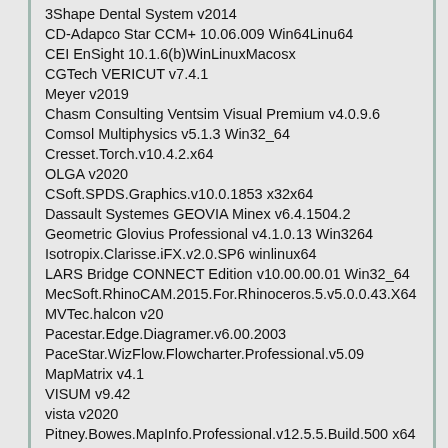3Shape Dental System v2014
CD-Adapco Star CCM+ 10.06.009 Win64Linu64
CEI EnSight 10.1.6(b)WinLinuxMacosx
CGTech VERICUT v7.4.1
Meyer v2019
Chasm Consulting Ventsim Visual Premium v4.0.9.6
Comsol Multiphysics v5.1.3 Win32_64
Cresset.Torch.v10.4.2.x64
OLGA v2020
CSoft.SPDS.Graphics.v10.0.1853 x32x64
Dassault Systemes GEOVIA Minex v6.4.1504.2
Geometric Glovius Professional v4.1.0.13 Win3264
Isotropix.Clarisse.iFX.v2.0.SP6 winlinux64
LARS Bridge CONNECT Edition v10.00.00.01 Win32_64
MecSoft.RhinoCAM.2015.For.Rhinoceros.5.v5.0.0.43.X64
MVTec.halcon v20
Pacestar.Edge.Diagramer.v6.00.2003
PaceStar.WizFlow.Flowcharter.Professional.v5.09
MapMatrix v4.1
VISUM v9.42
vista v2020
Pitney.Bowes.MapInfo.Professional.v12.5.5.Build.500 x64
Pitney.Bowes.MapInfo.Professional.v15.0
RhinoGOLD v5.5.0.3
Schlumberger OFM v2020